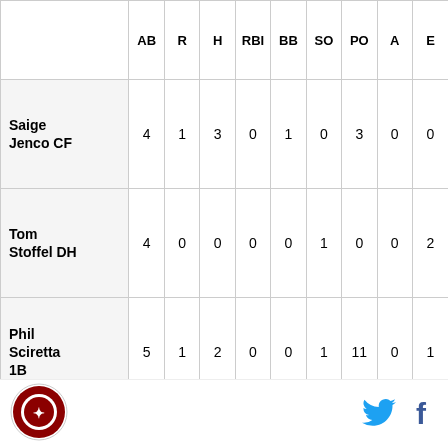|  | AB | R | H | RBI | BB | SO | PO | A | E |
| --- | --- | --- | --- | --- | --- | --- | --- | --- | --- |
| Saige Jenco CF | 4 | 1 | 3 | 0 | 1 | 0 | 3 | 0 | 0 |
| Tom Stoffel DH | 4 | 0 | 0 | 0 | 0 | 1 | 0 | 0 | 2 |
| Phil Sciretta 1B | 5 | 1 | 2 | 0 | 0 | 1 | 11 | 0 | 1 |
| Nick Anderson LF | 4 | 0 | 0 | 0 | 0 | 2 | 0 | 0 | 3 |
| Sam ... | 5 | 0 | 0 | 0 | 0 | 1 | 1 | 5 | 0 |